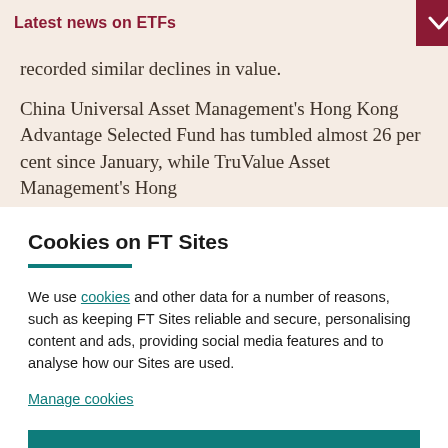Latest news on ETFs
recorded similar declines in value.
China Universal Asset Management's Hong Kong Advantage Selected Fund has tumbled almost 26 per cent since January, while TruValue Asset Management's Hong
Cookies on FT Sites
We use cookies and other data for a number of reasons, such as keeping FT Sites reliable and secure, personalising content and ads, providing social media features and to analyse how our Sites are used.
Manage cookies
Accept & continue